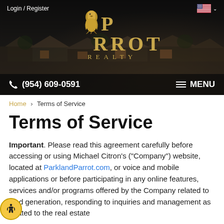[Figure (screenshot): Parrot Realty website header banner with dark background showing suburban houses, gold PARROT REALTY logo, Login/Register navigation, US flag icon, phone number (954) 609-0591, and MENU button]
Home > Terms of Service
Terms of Service
Important. Please read this agreement carefully before accessing or using Michael Citron's ("Company") website, located at ParklandParrot.com, or voice and mobile applications or before participating in any online features, services and/or programs offered by the Company related to lead generation, responding to inquiries and management as related to the real estate